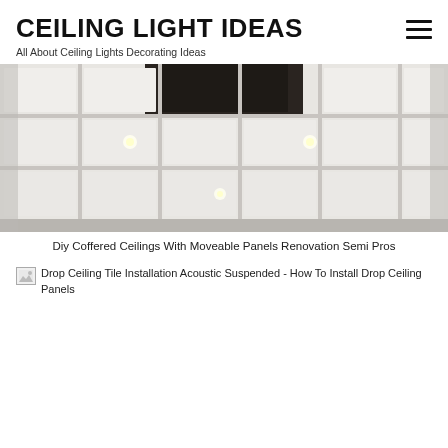CEILING LIGHT IDEAS
All About Ceiling Lights Decorating Ideas
[Figure (photo): A coffered ceiling with moveable panels, showing white rectangular grid panels with some dark open sections and recessed lights]
Diy Coffered Ceilings With Moveable Panels Renovation Semi Pros
[Figure (photo): Broken/missing image placeholder for Drop Ceiling Tile Installation Acoustic Suspended - How To Install Drop Ceiling Panels]
Drop Ceiling Tile Installation Acoustic Suspended - How To Install Drop Ceiling Panels